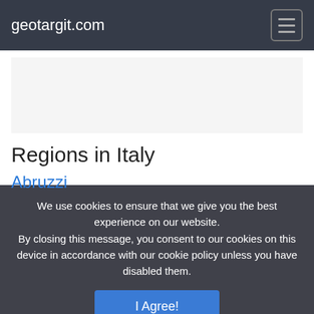geotargit.com
Regions in Italy
Abruzzi
We use cookies to ensure that we give you the best experience on our website. By closing this message, you consent to our cookies on this device in accordance with our cookie policy unless you have disabled them.
I Agree!